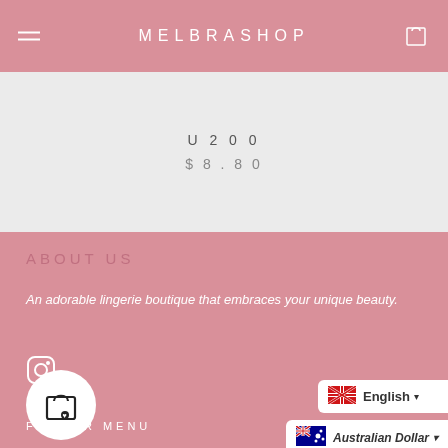MELBRASHOP
U200
$8.80
ABOUT US
An adorable lingerie boutique that embraces your unique beauty.
FOOTER MENU